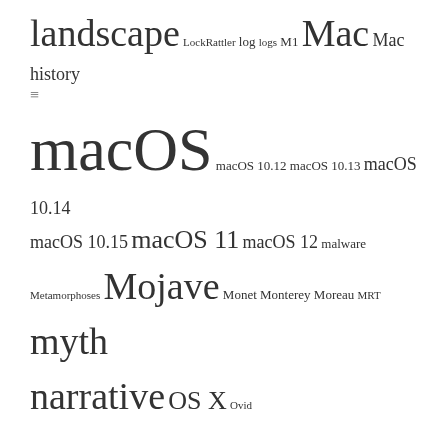landscape LockRattler log logs M1 Mac Mac history macOS macOS 10.12 macOS 10.13 macOS 10.14 macOS 10.15 macOS 11 macOS 12 malware Metamorphoses Mojave Monet Monterey Moreau MRT myth narrative OS X Ovid painting Pissarro Poussin privacy realism riddle Rubens Sargent scripting security Sierra SilentKnight SSD Swift symbolism Time Machine Turner update upgrade xattr Xcode XProtect
Statistics
12,435,174 hits